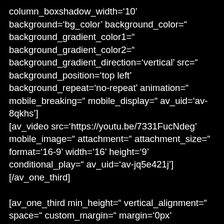column_boxshadow_width='10' background='bg_color' background_color=" background_gradient_color1=" background_gradient_color2=" background_gradient_direction='vertical' src=" background_position='top left' background_repeat='no-repeat' animation=" mobile_breaking=" mobile_display=" av_uid='av-8qkhs'] [av_video src='https://youtu.be/7331FucNdeg' mobile_image=" attachment=" attachment_size=" format='16-9' width='16' height='9' conditional_play=" av_uid='av-jq5e421j'] [/av_one_third]
[av_one_third min_height=" vertical_alignment=" space=" custom_margin=" margin='0px' row_boxshadow=" row_boxshadow_color="